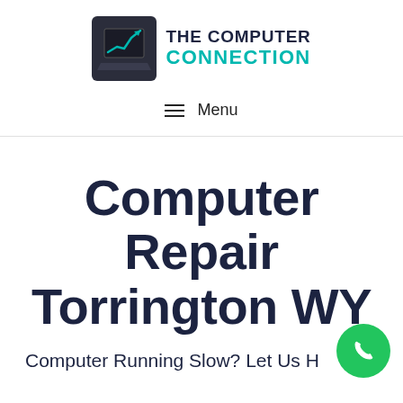[Figure (logo): The Computer Connection logo: dark square with white laptop and upward trending chart/arrow in teal, next to text 'THE COMPUTER CONNECTION']
≡  Menu
Computer Repair Torrington WY
Computer Running Slow? Let Us H...